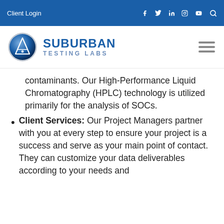Client Login
[Figure (logo): Suburban Testing Labs logo with circular emblem and text]
contaminants. Our High-Performance Liquid Chromatography (HPLC) technology is utilized primarily for the analysis of SOCs.
Client Services: Our Project Managers partner with you at every step to ensure your project is a success and serve as your main point of contact. They can customize your data deliverables according to your needs and